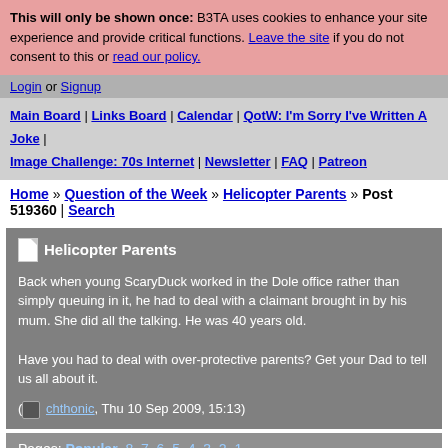This will only be shown once: B3TA uses cookies to enhance your site experience and provide critical functions. Leave the site if you do not consent to this or read our policy.
Login or Signup
Main Board | Links Board | Calendar | QotW: I'm Sorry I've Written A Joke | Image Challenge: 70s Internet | Newsletter | FAQ | Patreon
Home » Question of the Week » Helicopter Parents » Post 519360 | Search
Helicopter Parents
Back when young ScaryDuck worked in the Dole office rather than simply queuing in it, he had to deal with a claimant brought in by his mum. She did all the talking. He was 40 years old.

Have you had to deal with over-protective parents? Get your Dad to tell us all about it.
( chthonic, Thu 10 Sep 2009, 15:13)
Pages: Popular, 8, 7, 6, 5, 4, 3, 2, 1
« Go Back | See The Full Thread
might be true...
a geezer once spun me a yarn at a wedding, he sussed what his missus had bought him for his 40th, as he was above the shopping area in Aldershot...